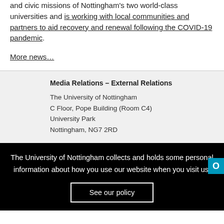and civic missions of Nottingham's two world-class universities and is working with local communities and partners to aid recovery and renewal following the COVID-19 pandemic.
More news…
Media Relations – External Relations
The University of Nottingham
C Floor, Pope Building (Room C4)
University Park
Nottingham, NG7 2RD
The University of Nottingham collects and holds some personal information about how you use our website when you visit us.
See our policy